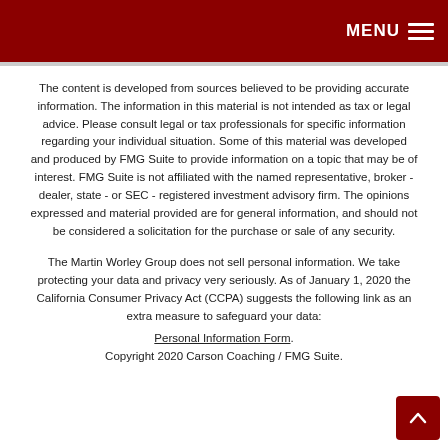MENU ☰
The content is developed from sources believed to be providing accurate information. The information in this material is not intended as tax or legal advice. Please consult legal or tax professionals for specific information regarding your individual situation. Some of this material was developed and produced by FMG Suite to provide information on a topic that may be of interest. FMG Suite is not affiliated with the named representative, broker - dealer, state - or SEC - registered investment advisory firm. The opinions expressed and material provided are for general information, and should not be considered a solicitation for the purchase or sale of any security.
The Martin Worley Group does not sell personal information. We take protecting your data and privacy very seriously. As of January 1, 2020 the California Consumer Privacy Act (CCPA) suggests the following link as an extra measure to safeguard your data: Personal Information Form.
Copyright 2020 Carson Coaching / FMG Suite.